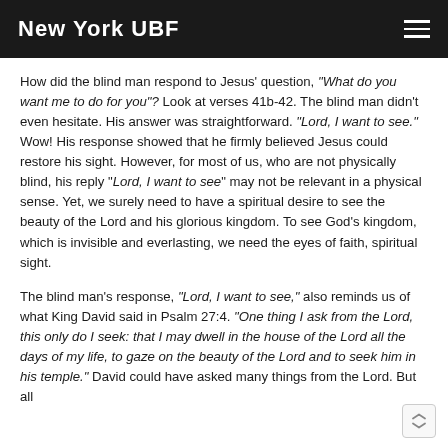New York UBF
How did the blind man respond to Jesus' question, "What do you want me to do for you"? Look at verses 41b-42. The blind man didn't even hesitate. His answer was straightforward. "Lord, I want to see." Wow! His response showed that he firmly believed Jesus could restore his sight. However, for most of us, who are not physically blind, his reply "Lord, I want to see" may not be relevant in a physical sense. Yet, we surely need to have a spiritual desire to see the beauty of the Lord and his glorious kingdom. To see God's kingdom, which is invisible and everlasting, we need the eyes of faith, spiritual sight.
The blind man's response, "Lord, I want to see," also reminds us of what King David said in Psalm 27:4. "One thing I ask from the Lord, this only do I seek: that I may dwell in the house of the Lord all the days of my life, to gaze on the beauty of the Lord and to seek him in his temple." David could have asked many things from the Lord. But all